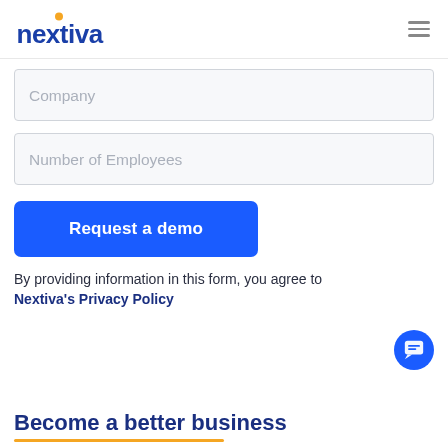[Figure (logo): Nextiva logo with orange circle dot above the 'i' and blue text]
Company
Number of Employees
Request a demo
By providing information in this form, you agree to Nextiva's Privacy Policy
[Figure (illustration): Blue circular chat/support button with chat icon]
Become a better business